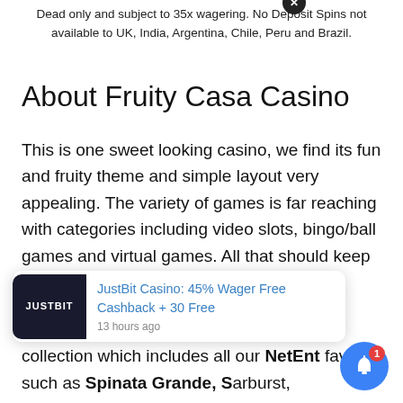Dead only and subject to 35x wagering. No Deposit Spins not available to UK, India, Argentina, Chile, Peru and Brazil.
About Fruity Casa Casino
This is one sweet looking casino, we find its fun and fruity theme and simple layout very appealing. The variety of games is far reaching with categories including video slots, bingo/ball games and virtual games. All that should keep you busy!
There's a suitably satisfying video slot collection which includes all our NetEnt faves such as Spinata Grande, Starburst, Gonzo's Quest, Guns N' Roses, and Twin Spin Wins and Mega Fortune. We also love that you can play everything in 'fun mode' before you commit any real cash.
[Figure (screenshot): Notification popup for JustBit Casino: 45% Wager Free Cashback + 30 Free, posted 13 hours ago, with a dark casino-themed image on the left.]